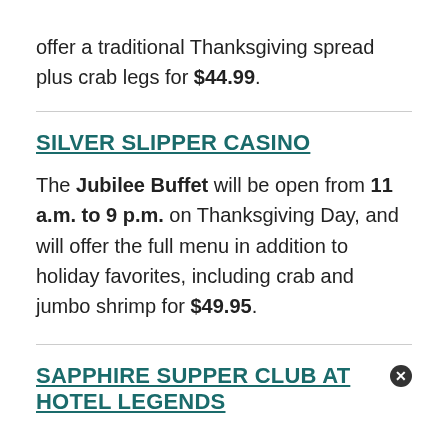offer a traditional Thanksgiving spread plus crab legs for $44.99.
SILVER SLIPPER CASINO
The Jubilee Buffet will be open from 11 a.m. to 9 p.m. on Thanksgiving Day, and will offer the full menu in addition to holiday favorites, including crab and jumbo shrimp for $49.95.
SAPPHIRE SUPPER CLUB AT HOTEL LEGENDS